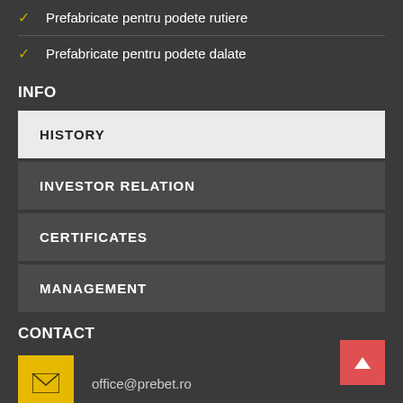✓ Prefabricate pentru podete rutiere
✓ Prefabricate pentru podete dalate
INFO
HISTORY
INVESTOR RELATION
CERTIFICATES
MANAGEMENT
CONTACT
office@prebet.ro